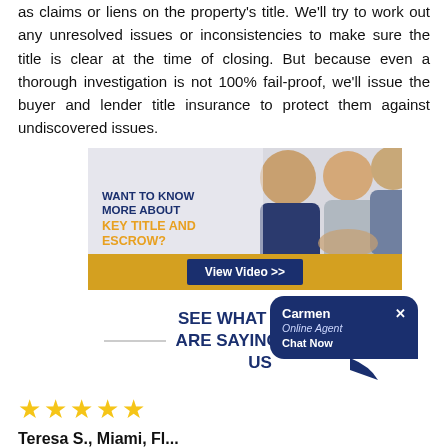as claims or liens on the property's title. We'll try to work out any unresolved issues or inconsistencies to make sure the title is clear at the time of closing. But because even a thorough investigation is not 100% fail-proof, we'll issue the buyer and lender title insurance to protect them against undiscovered issues.
[Figure (photo): Advertisement banner for Key Title and Escrow with photo of people shaking hands, text 'Want to know more about Key Title and Escrow?' and a 'View Video >>' button on a gold bar.]
SEE WHAT OTHERS ARE SAYING ABOUT US
[Figure (illustration): Chat bubble overlay showing Carmen, Online Agent, Chat Now with agent photo in circle and green online indicator.]
[Figure (illustration): Five gold stars rating]
Teresa S., Miami, Fl...